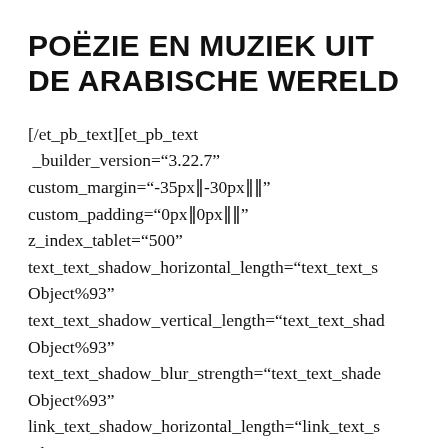POËZIE EN MUZIEK UIT DE ARABISCHE WERELD
[/et_pb_text][et_pb_text _builder_version="3.22.7" custom_margin="-35px||-30px|||" custom_padding="0px||0px|||" z_index_tablet="500" text_text_shadow_horizontal_length="text_text_sObject%93" text_text_shadow_vertical_length="text_text_shadObject%93" text_text_shadow_blur_strength="text_text_shadeObject%93" link_text_shadow_horizontal_length="link_text_sObject%93"